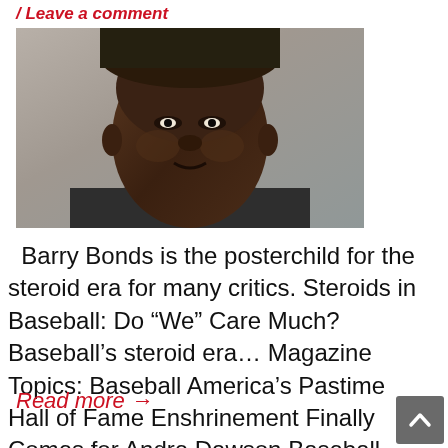/ Leave a comment
[Figure (photo): Close-up photo of a dark-skinned man's face, cropped showing forehead to chin, wearing a dark shirt, gray background]
Barry Bonds is the posterchild for the steroid era for many critics. Steroids in Baseball: Do “We” Care Much?     Baseball’s steroid era… Magazine Topics: Baseball America’s Pastime Hall of Fame Enshrinement Finally Comes for Andre Dawson Baseball Legends Still Showing Greatness After Career Racial
Read more →